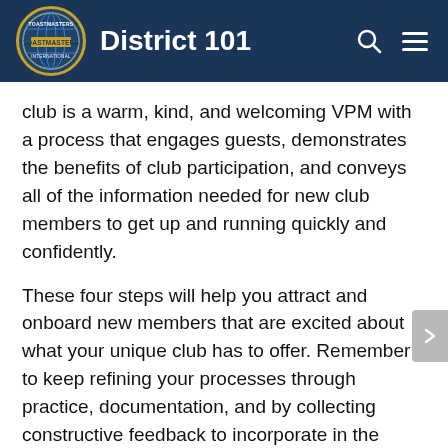District 101
club is a warm, kind, and welcoming VPM with a process that engages guests, demonstrates the benefits of club participation, and conveys all of the information needed for new club members to get up and running quickly and confidently.
These four steps will help you attract and onboard new members that are excited about what your unique club has to offer. Remember to keep refining your processes through practice, documentation, and by collecting constructive feedback to incorporate in the future. Best of luck as you grow your club! .
We'd love to hear from you. You can connect with club President (2021) Erica Tamburo at